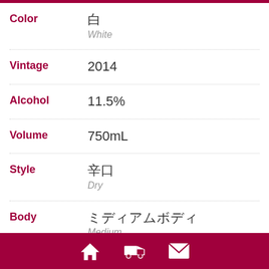| Field | Value |
| --- | --- |
| Color | 白 / White |
| Vintage | 2014 |
| Alcohol | 11.5% |
| Volume | 750mL |
| Style | 辛口 / Dry |
| Body | ミディアムボディ / Medium |
| Maturity | 飲み頃または保管 |